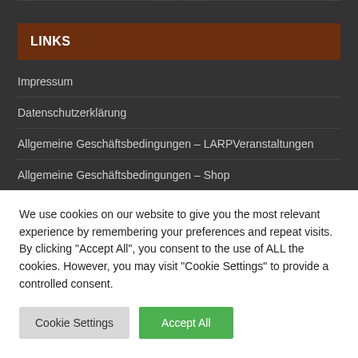LINKS
Impressum
Datenschutzerklärung
Allgemeine Geschäftsbedingungen – LARPVeranstaltungen
Allgemeine Geschäftsbedingungen – Shop
DIANA JÄGERS & MONDLICHT
We use cookies on our website to give you the most relevant experience by remembering your preferences and repeat visits. By clicking "Accept All", you consent to the use of ALL the cookies. However, you may visit "Cookie Settings" to provide a controlled consent.
Cookie Settings | Accept All